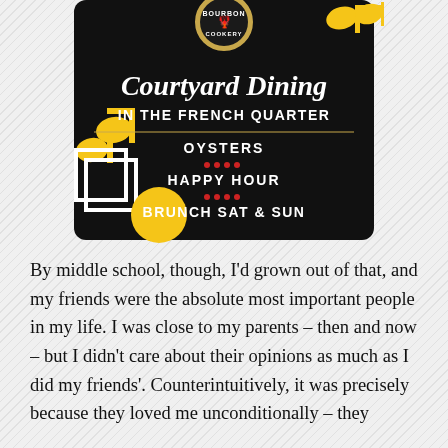[Figure (advertisement): Advertisement for Bourbon Cookery restaurant featuring 'Courtyard Dining IN THE FRENCH QUARTER' with gold musical notes, lobster logo, and menu items: OYSTERS, HAPPY HOUR, BRUNCH SAT & SUN on a black background]
By middle school, though, I'd grown out of that, and my friends were the absolute most important people in my life. I was close to my parents – then and now – but I didn't care about their opinions as much as I did my friends'. Counterintuitively, it was precisely because they loved me unconditionally – they